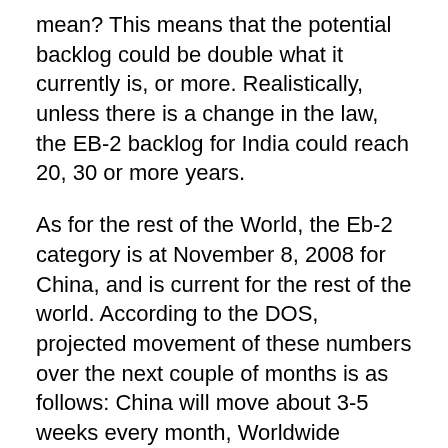mean? This means that the potential backlog could be double what it currently is, or more. Realistically, unless there is a change in the law, the EB-2 backlog for India could reach 20, 30 or more years.
As for the rest of the World, the Eb-2 category is at November 8, 2008 for China, and is current for the rest of the world. According to the DOS, projected movement of these numbers over the next couple of months is as follows: China will move about 3-5 weeks every month, Worldwide numbers will stay Current, India will NOT move forward at all.
Lastly, EB-3 numbers are at October 1, 2011 for most of the world, except they are at September 1,